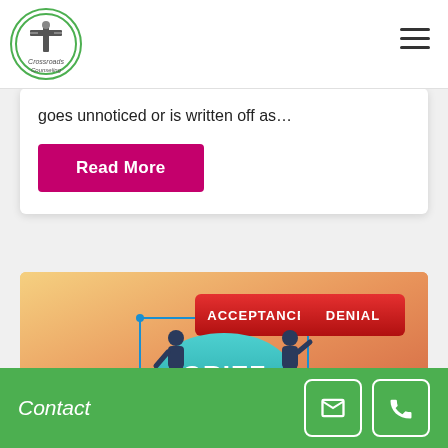Crossroads Counseling
goes unnoticed or is written off as...
Read More
[Figure (infographic): Grief cycle infographic showing four stages: ACCEPTANCE (top left, red box), DENIAL (top right, red box), DEPRESSION (bottom left, red box), ANGER (bottom right, red box), with GRIEF in a teal oval at center. Two figures of people sitting in contemplative poses flank the center oval. Blue arrows connect the boxes in a cycle.]
Contact